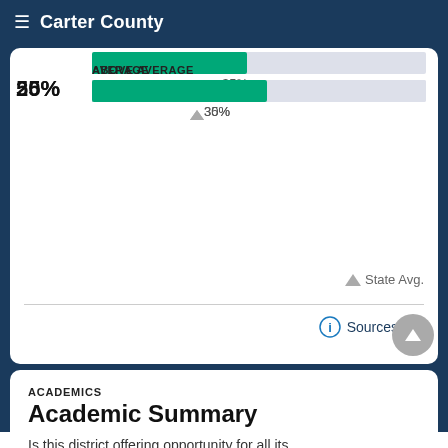Carter County
[Figure (bar-chart): Academic performance bar chart]
▲ State Avg.
ⓘ Sources
ACADEMICS
Academic Summary
Is this district offering opportunity for all its students and are they succeeding?